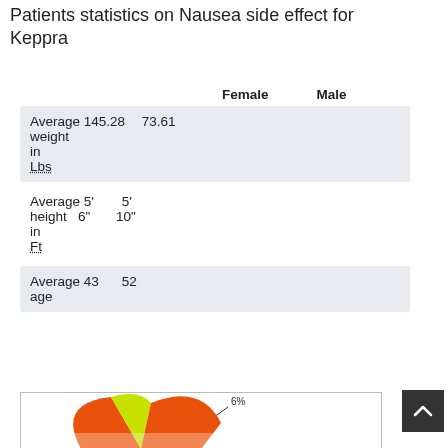Patients statistics on Nausea side effect for Keppra
|  | Female | Male |
| --- | --- | --- |
| Average weight in Lbs | 145.28 | 73.61 |
| Average height in Ft | 5' 6" | 5' 10" |
| Average age | 43 | 52 |
[Figure (pie-chart): Pie chart showing patient distribution with a 6% slice labeled, orange and yellow-green slices visible]